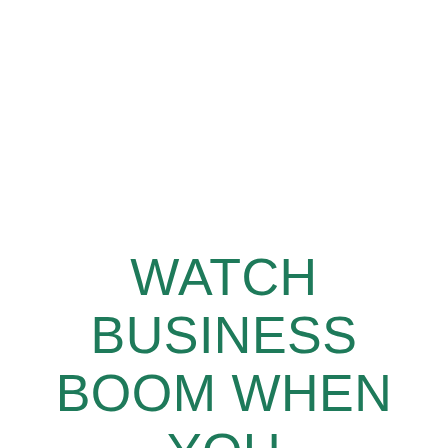WATCH BUSINESS BOOM WHEN YOU USE TARGETED & EFFECTIVE POSTCARD